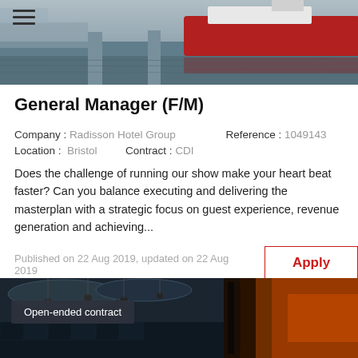[Figure (photo): Hero image showing a waterfront with a large red and white boat/ship docked, concrete pillars, dark water, urban background]
General Manager (F/M)
Company : Radisson Hotel Group    Reference : 1049143
Location :  Bristol      Contract : CDI
Does the challenge of running our show make your heart beat faster? Can you balance executing and delivering the masterplan with a strategic focus on guest experience, revenue generation and achieving...
Published on 22 Aug 2019, updated on 22 Aug 2019
[Figure (photo): Bottom image showing a luxury hotel interior with decorative ceiling and orange-lit corridor, with 'Open-ended contract' badge overlay]